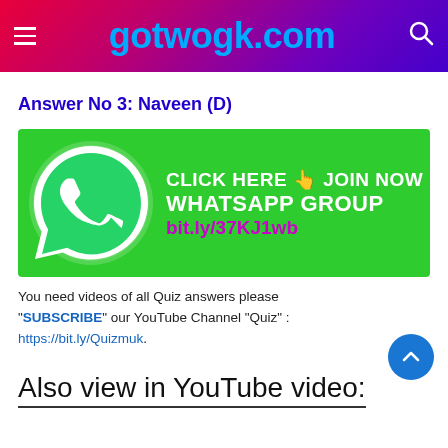gotwogk.com
Answer No 3: Naveen (D)
[Figure (infographic): WhatsApp group join banner with WhatsApp logo, text 'CLICK HERE 👆 JOIN NOW WHATSAPP GROUP bit.ly/37KJ1wb' on green background]
You need videos of all Quiz answers please "SUBSCRIBE" our YouTube Channel "Quiz" : https://bit.ly/Quizmuk.
Also view in YouTube video: